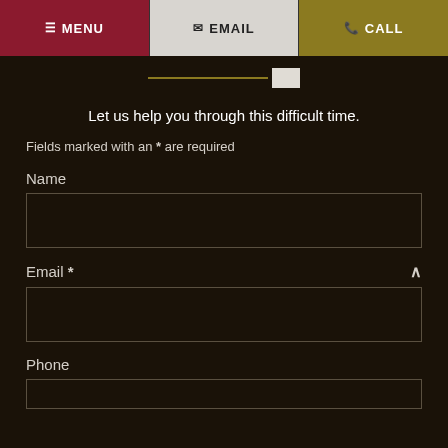MENU | EMAIL | CALL
[Figure (infographic): Progress bar with golden line and white box indicator]
Let us help you through this difficult time.
Fields marked with an * are required
Name
Email *
Phone